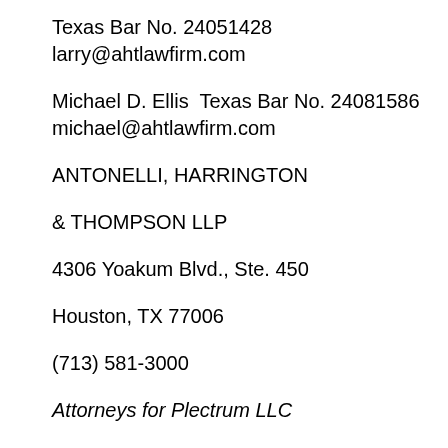Texas Bar No. 24051428
larry@ahtlawfirm.com
Michael D. Ellis  Texas Bar No. 24081586
michael@ahtlawfirm.com
ANTONELLI, HARRINGTON
& THOMPSON LLP
4306 Yoakum Blvd., Ste. 450
Houston, TX 77006
(713) 581-3000
Attorneys for Plectrum LLC